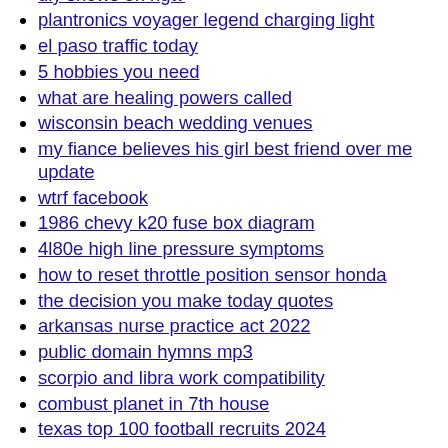diy shows on hgtv
plantronics voyager legend charging light
el paso traffic today
5 hobbies you need
what are healing powers called
wisconsin beach wedding venues
my fiance believes his girl best friend over me update
wtrf facebook
1986 chevy k20 fuse box diagram
4l80e high line pressure symptoms
how to reset throttle position sensor honda
the decision you make today quotes
arkansas nurse practice act 2022
public domain hymns mp3
scorpio and libra work compatibility
combust planet in 7th house
texas top 100 football recruits 2024
proof of separation centrelink
harley davidson smoked indicator lenses
ammo list
eurocharged handheld
greenwich hospital radiology phone number
cornell anesthesia reddit
azle funeral home
dehydration dry lips